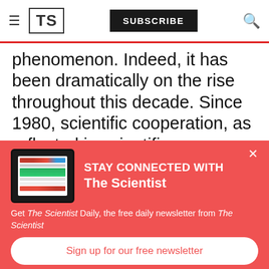TS | SUBSCRIBE
phenomenon. Indeed, it has been dramatically on the rise throughout this decade. Since 1980, scientific cooperation, as reflected in scientific
[Figure (screenshot): Popup overlay with red background showing The Scientist newsletter signup. Includes a tablet image showing The Scientist website, headline 'STAY CONNECTED WITH The Scientist', body text 'Get The Scientist Daily, the free daily newsletter from The Scientist', and a 'Sign up for our free newsletter' button.]
Get The Scientist Daily, the free daily newsletter from The Scientist
Sign up for our free newsletter